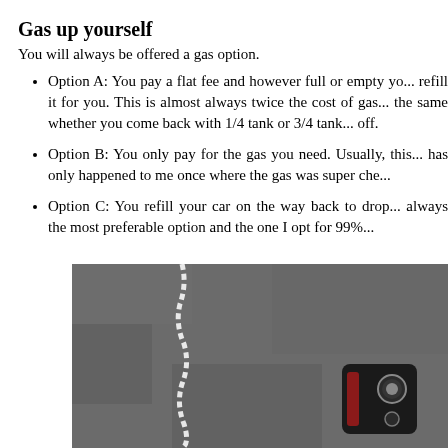Gas up yourself
You will always be offered a gas option.
Option A: You pay a flat fee and however full or empty yo... refill it for you. This is almost always twice the cost of gas... the same whether you come back with 1/4 tank or 3/4 tank... off.
Option B: You only pay for the gas you need. Usually, this... has only happened to me once where the gas was super che...
Option C: You refill your car on the way back to drop... always the most preferable option and the one I opt for 99%...
[Figure (photo): A car key fob on a pavement surface with a white chain or stitching visible on the asphalt background.]